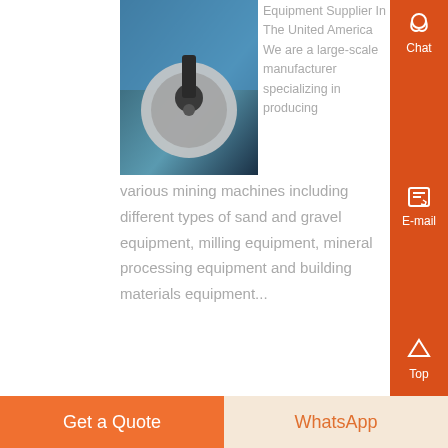[Figure (photo): Industrial mining equipment photo - circular disc/grinder machinery against blue sky]
Equipment Supplier In The United America We are a large-scale manufacturer specializing in producing various mining machines including different types of sand and gravel equipment, milling equipment, mineral processing equipment and building materials equipment...
Know More
[Figure (photo): Industrial crusher/milling plant with silos and pipes]
e info crusher america | rushers all over ,
info crusher america heavy specialized in the design,
Get a Quote
WhatsApp